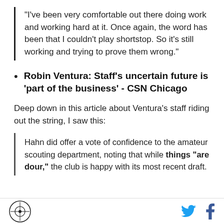"I've been very comfortable out there doing work and working hard at it. Once again, the word has been that I couldn't play shortstop. So it's still working and trying to prove them wrong."
Robin Ventura: Staff's uncertain future is 'part of the business' - CSN Chicago
Deep down in this article about Ventura's staff riding out the string, I saw this:
Hahn did offer a vote of confidence to the amateur scouting department, noting that while things "are dour," the club is happy with its most recent draft.